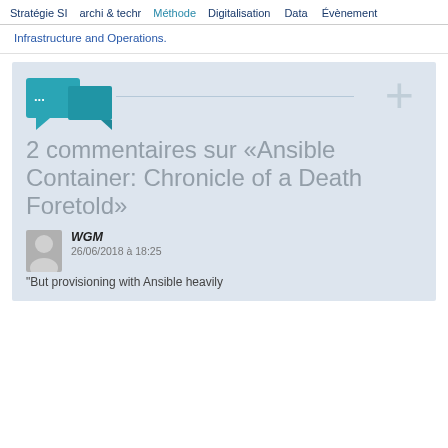Stratégie SI  archi & techr  Méthode  Digitalisation  Data  Évènement
Infrastructure and Operations.
2 commentaires sur "Ansible Container: Chronicle of a Death Foretold"
WGM
26/06/2018 à 18:25
"But provisioning with Ansible heavily